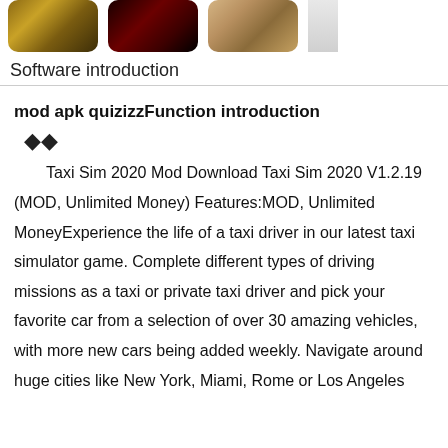[Figure (illustration): Three app icon thumbnails partially visible at top of page — a brown/gold themed image, a dark red/black themed image, and a light tan/anime style image, plus a partial fourth image cropped at right edge.]
Software introduction
mod apk quizizzFunction introduction
❖❖
Taxi Sim 2020 Mod Download Taxi Sim 2020 V1.2.19 (MOD, Unlimited Money) Features:MOD, Unlimited MoneyExperience the life of a taxi driver in our latest taxi simulator game. Complete different types of driving missions as a taxi or private taxi driver and pick your favorite car from a selection of over 30 amazing vehicles, with more new cars being added weekly. Navigate around huge cities like New York, Miami, Rome or Los Angeles